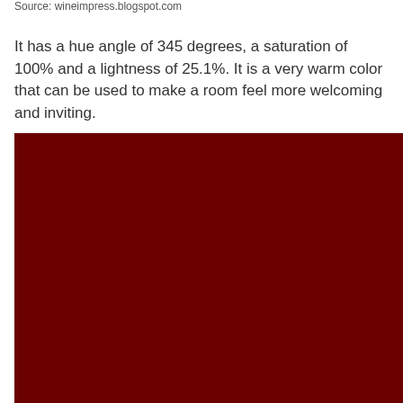Source: wineimpress.blogspot.com
It has a hue angle of 345 degrees, a saturation of 100% and a lightness of 25.1%. It is a very warm color that can be used to make a room feel more welcoming and inviting.
[Figure (illustration): A large solid dark wine/maroon colored rectangle filling the lower portion of the page.]